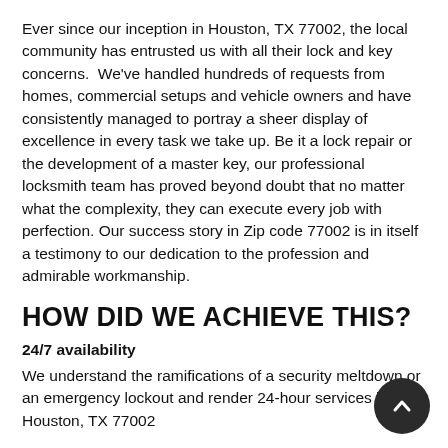Ever since our inception in Houston, TX 77002, the local community has entrusted us with all their lock and key concerns.  We've handled hundreds of requests from homes, commercial setups and vehicle owners and have consistently managed to portray a sheer display of excellence in every task we take up. Be it a lock repair or the development of a master key, our professional locksmith team has proved beyond doubt that no matter what the complexity, they can execute every job with perfection. Our success story in Zip code 77002 is in itself a testimony to our dedication to the profession and admirable workmanship.
HOW DID WE ACHIEVE THIS?
24/7 availability
We understand the ramifications of a security meltdown or an emergency lockout and render 24-hour services in Houston, TX 77002